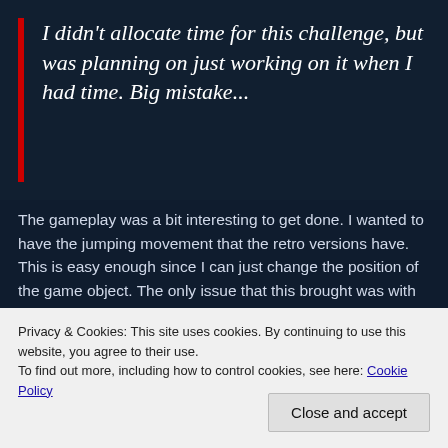I didn't allocate time for this challenge, but was planning on just working on it when I had time. Big mistake...
The gameplay was a bit interesting to get done. I wanted to have the jumping movement that the retro versions have. This is easy enough since I can just change the position of the game object. The only issue that this brought was with collision detection. A quick raycast, however, takes care of that problem. The next problem was the top half of the level where you wanted to jump
Privacy & Cookies: This site uses cookies. By continuing to use this website, you agree to their use.
To find out more, including how to control cookies, see here: Cookie Policy
Close and accept